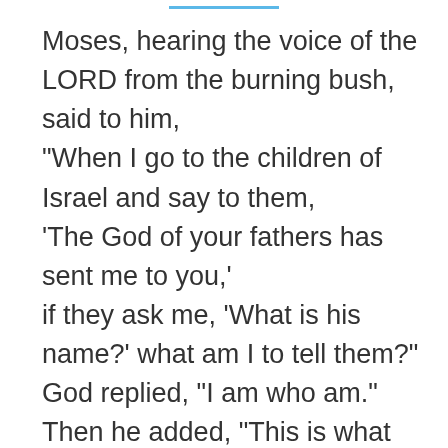Moses, hearing the voice of the LORD from the burning bush, said to him, “When I go to the children of Israel and say to them, ‘The God of your fathers has sent me to you,’ if they ask me, ‘What is his name?’ what am I to tell them?” God replied, “I am who am.” Then he added, “This is what you shall tell the children of Israel: I AM sent me to you.”